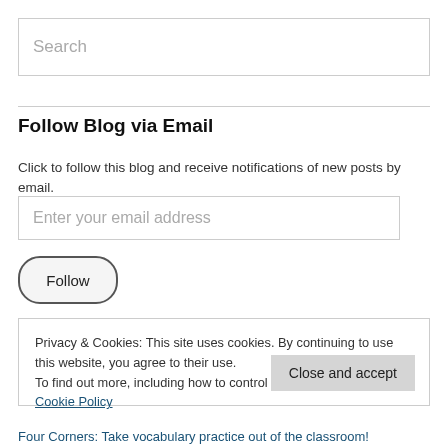Search
Follow Blog via Email
Click to follow this blog and receive notifications of new posts by email.
Enter your email address
Follow
Privacy & Cookies: This site uses cookies. By continuing to use this website, you agree to their use.
To find out more, including how to control cookies, see here: Cookie Policy
Close and accept
Four Corners: Take vocabulary practice out of the classroom!